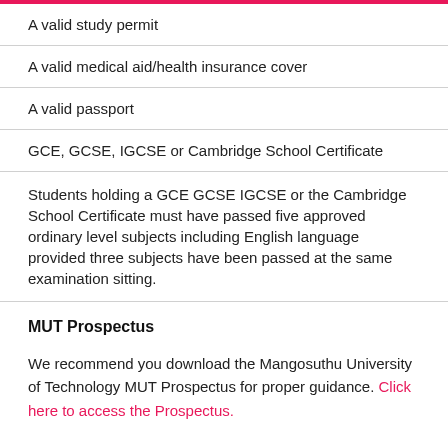A valid study permit
A valid medical aid/health insurance cover
A valid passport
GCE, GCSE, IGCSE or Cambridge School Certificate
Students holding a GCE GCSE IGCSE or the Cambridge School Certificate must have passed five approved ordinary level subjects including English language provided three subjects have been passed at the same examination sitting.
MUT Prospectus
We recommend you download the Mangosuthu University of Technology MUT Prospectus for proper guidance. Click here to access the Prospectus.